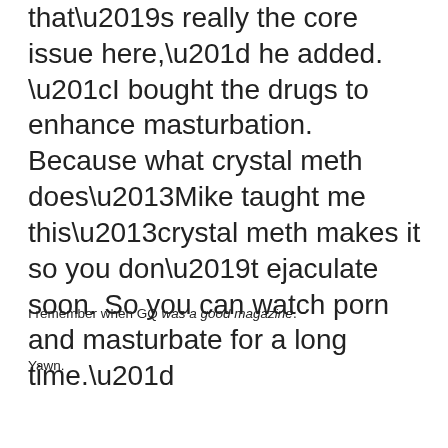that’s really the core issue here,” he added. “I bought the drugs to enhance masturbation. Because what crystal meth does–Mike taught me this–crystal meth makes it so you don’t ejaculate soon. So you can watch porn and masturbate for a long time.”
I remember when GQ was a good magazine.
Yawn.
[Figure (other): Blue Twitter Tweet button with bird icon]